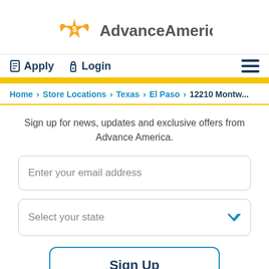[Figure (logo): Advance America logo with orange eagle/star icon and gray text]
Apply  Login
Home > Store Locations > Texas > El Paso > 12210 Montw...
Sign up for news, updates and exclusive offers from Advance America.
Enter your email address
Select your state
Sign Up